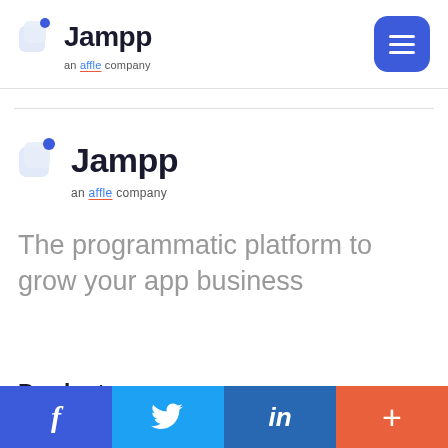Jampp – an affle company (header logo + hamburger menu)
[Figure (logo): Jampp logo with blue rounded square icon and dot, text 'Jampp', subtitle 'an affle company']
The programmatic platform to grow your app business
Products
Facebook | Twitter | LinkedIn | More (+)